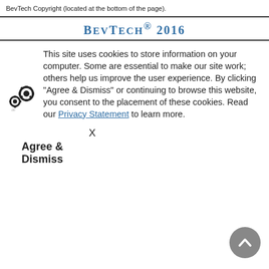BevTech Copyright (located at the bottom of the page).
BEVTECH® 2016
This site uses cookies to store information on your computer. Some are essential to make our site work; others help us improve the user experience. By clicking "Agree & Dismiss" or continuing to browse this website, you consent to the placement of these cookies. Read our Privacy Statement to learn more.
X
Agree & Dismiss